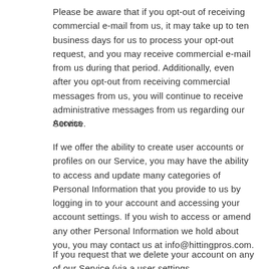Please be aware that if you opt-out of receiving commercial e-mail from us, it may take up to ten business days for us to process your opt-out request, and you may receive commercial e-mail from us during that period. Additionally, even after you opt-out from receiving commercial messages from us, you will continue to receive administrative messages from us regarding our Service.
Access
If we offer the ability to create user accounts or profiles on our Service, you may have the ability to access and update many categories of Personal Information that you provide to us by logging in to your account and accessing your account settings. If you wish to access or amend any other Personal Information we hold about you, you may contact us at info@hittingpros.com.
If you request that we delete your account on any of our Service (via a user settings